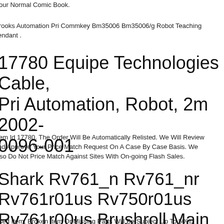our Normal Comic Book.
rooks Automation Pri Commkey Bm35006 Bm35006/g Robot Teaching endant .
17780 Equipe Technologies Cable, Pri Automation, Robot, 2m 2002-0096-001
em Id 17780. The Order Will Be Automatically Relisted. We Will Review nd Approve Your Price Match Request On A Case By Case Basis. We lso Do Not Price Match Against Sites With On-going Flash Sales.
Shark Rv761_n Rv761_nr Rv761r01us Rv750r01us Rv761r00us Brushroll Main Motor
sed Item, Broken Item Or Missing Parts Will Be Subject Up To 50%